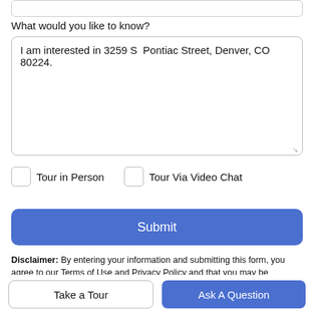What would you like to know?
I am interested in 3259 S  Pontiac Street, Denver, CO 80224.
Tour in Person
Tour Via Video Chat
Submit
Disclaimer: By entering your information and submitting this form, you agree to our Terms of Use and Privacy Policy and that you may be contacted by phone, text message and email about your inquiry.
Take a Tour
Ask A Question